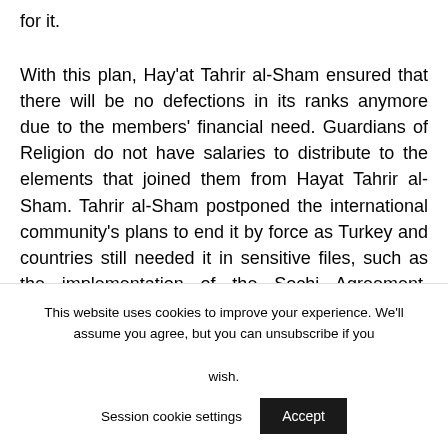for it.
With this plan, Hay'at Tahrir al-Sham ensured that there will be no defections in its ranks anymore due to the members' financial need. Guardians of Religion do not have salaries to distribute to the elements that joined them from Hayat Tahrir al-Sham. Tahrir al-Sham postponed the international community's plans to end it by force as Turkey and countries still needed it in sensitive files, such as the implementation of the Sochi Agreement, cooperation in the fight against ISIS and the fight
This website uses cookies to improve your experience. We'll assume you agree, but you can unsubscribe if you wish. Session cookie settings Accept